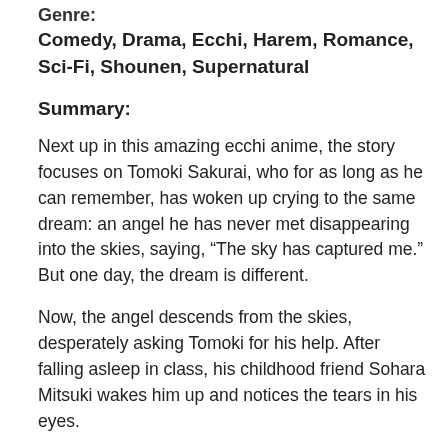Genre:
Comedy, Drama, Ecchi, Harem, Romance, Sci-Fi, Shounen, Supernatural
Summary:
Next up in this amazing ecchi anime, the story focuses on Tomoki Sakurai, who for as long as he can remember, has woken up crying to the same dream: an angel he has never met disappearing into the skies, saying, “The sky has captured me.” But one day, the dream is different.
Now, the angel descends from the skies, desperately asking Tomoki for his help. After falling asleep in class, his childhood friend Sohara Mitsuki wakes him up and notices the tears in his eyes.